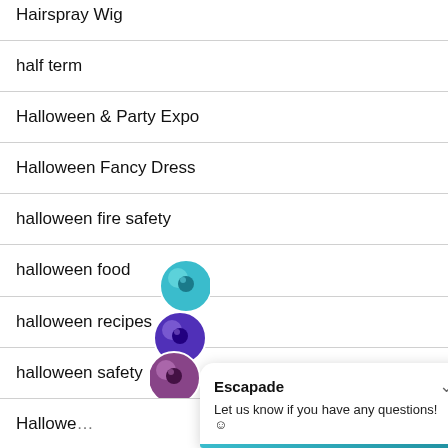Hairspray-Wig
half term
Halloween & Party Expo
Halloween Fancy Dress
halloween fire safety
halloween food
halloween recipes
halloween safety
Hallowe...
hallow...
[Figure (screenshot): Chat widget overlay with Escapade branding showing avatars and message 'Let us know if you have any questions!']